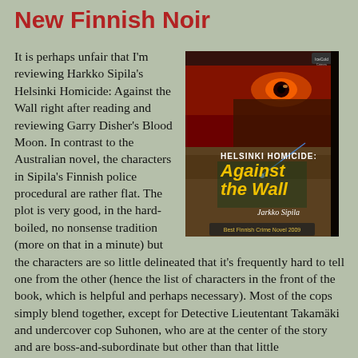New Finnish Noir
[Figure (photo): Book cover of Helsinki Homicide: Against the Wall by Jarkko Sipila. Dark cover with a glowing eye in red and gold, with bold yellow text reading 'Against the Wall'. Subtitle 'Helsinki Homicide:' at top. Author name 'Jarkko Sipila' in white. Badge reading 'Best Finnish Crime Novel 2009' at bottom.]
It is perhaps unfair that I'm reviewing Harkko Sipila's Helsinki Homicide: Against the Wall right after reading and reviewing Garry Disher's Blood Moon. In contrast to the Australian novel, the characters in Sipila's Finnish police procedural are rather flat. The plot is very good, in the hard-boiled, no nonsense tradition (more on that in a minute) but the characters are so little delineated that it's frequently hard to tell one from the other (hence the list of characters in the front of the book, which is helpful and perhaps necessary). Most of the cops simply blend together, except for Detective Lieutentant Takamäki and undercover cop Suhonen, who are at the center of the story and are boss-and-subordinate but other than that little differentiated